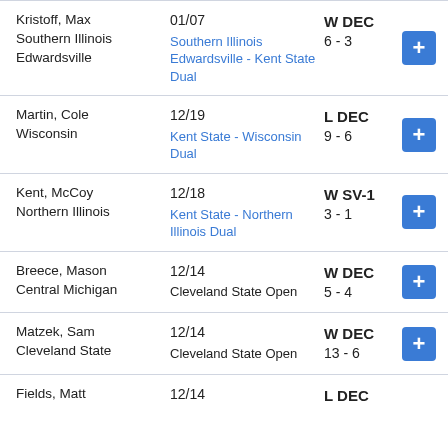| Opponent | Date / Event | Result |  |
| --- | --- | --- | --- |
| Kristoff, Max
Southern Illinois Edwardsville | 01/07
Southern Illinois Edwardsville - Kent State Dual | W DEC
6 - 3 | + |
| Martin, Cole
Wisconsin | 12/19
Kent State - Wisconsin Dual | L DEC
9 - 6 | + |
| Kent, McCoy
Northern Illinois | 12/18
Kent State - Northern Illinois Dual | W SV-1
3 - 1 | + |
| Breece, Mason
Central Michigan | 12/14
Cleveland State Open | W DEC
5 - 4 | + |
| Matzek, Sam
Cleveland State | 12/14
Cleveland State Open | W DEC
13 - 6 | + |
| Fields, Matt
 | 12/14
 | L DEC
 |  |